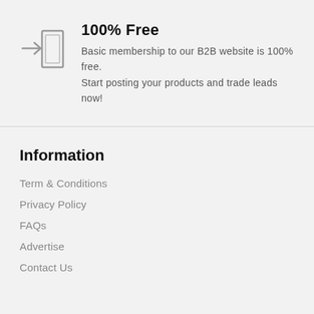[Figure (illustration): Login/entry door icon with an arrow pointing right into a door shape, outline style, gray color]
100% Free
Basic membership to our B2B website is 100% free. Start posting your products and trade leads now!
Information
Term & Conditions
Privacy Policy
FAQs
Advertise
Contact Us